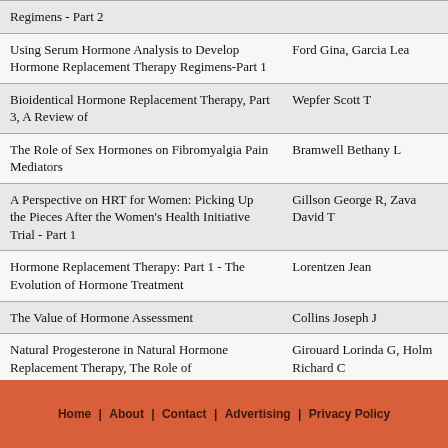| Title | Author |
| --- | --- |
| Regimens - Part 2 |  |
| Using Serum Hormone Analysis to Develop Hormone Replacement Therapy Regimens-Part 1 | Ford Gina, Garcia Lea |
| Bioidentical Hormone Replacement Therapy, Part 3, A Review of | Wepfer Scott T |
| The Role of Sex Hormones on Fibromyalgia Pain Mediators | Bramwell Bethany L |
| A Perspective on HRT for Women: Picking Up the Pieces After the Women's Health Initiative Trial - Part 1 | Gillson George R, Zava David T |
| Hormone Replacement Therapy: Part 1 - The Evolution of Hormone Treatment | Lorentzen Jean |
| The Value of Hormone Assessment | Collins Joseph J |
| Natural Progesterone in Natural Hormone Replacement Therapy, The Role of | Girouard Lorinda G, Holm Richard C |
Home | About | Contact | Advertising | Privacy Policy